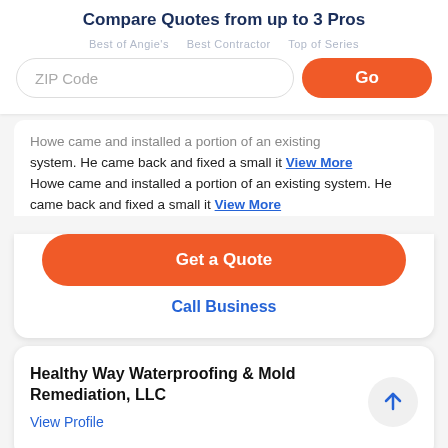Compare Quotes from up to 3 Pros
Best of Angie's · Best Contractor · Top of Series
ZIP Code
Go
Howe came and installed a portion of an existing system. He came back and fixed a small it View More
Get a Quote
Call Business
Healthy Way Waterproofing & Mold Remediation, LLC
View Profile